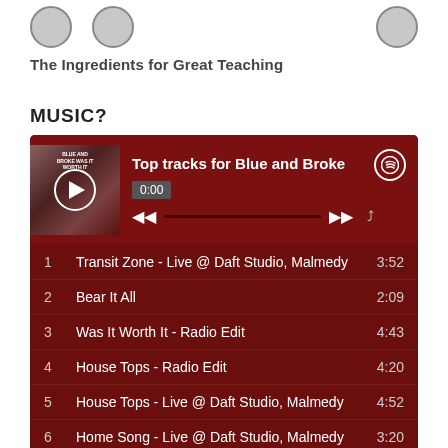[Figure (illustration): Three circular icon buttons partially visible at top of page]
The Ingredients for Great Teaching
MUSIC?
[Figure (screenshot): Spotify-style music player widget showing 'Top tracks for Blue and Broke' with track list: 1. Transit Zone - Live @ Daft Studio, Malmedy 3:52, 2. Bear It All 2:09, 3. Was It Worth It - Radio Edit 4:43, 4. House Tops - Radio Edit 4:20, 5. House Tops - Live @ Daft Studio, Malmedy 4:52, 6. Home Song - Live @ Daft Studio, Malmedy 3:20, 7. Dawn in Pennsylvania / Compartiment C Voitur... 3:58]